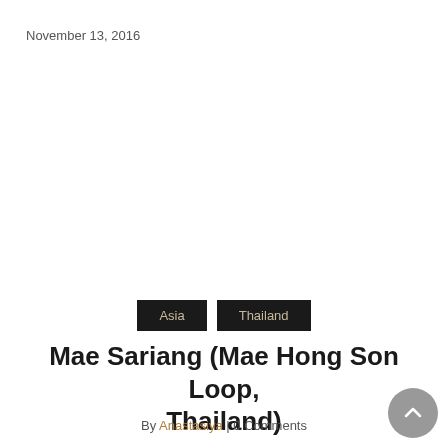November 13, 2016
Asia   Thailand
Mae Sariang (Mae Hong Son Loop, Thailand)
By Anastasiya | 0 Comments